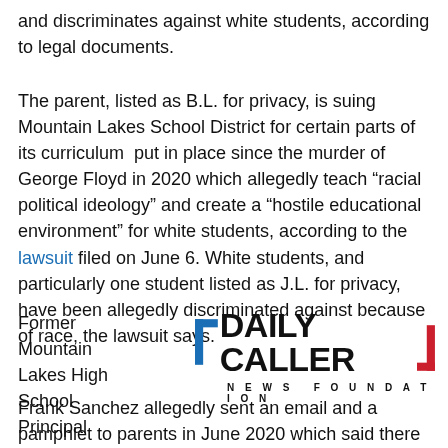and discriminates against white students, according to legal documents.
The parent, listed as B.L. for privacy, is suing Mountain Lakes School District for certain parts of its curriculum  put in place since the murder of George Floyd in 2020 which allegedly teach “racial political ideology” and create a “hostile educational environment” for white students, according to the lawsuit filed on June 6. White students, and particularly one student listed as J.L. for privacy, have been allegedly discriminated against because of race, the lawsuit says.
Former Mountain Lakes High School Principal
[Figure (logo): Daily Caller News Foundation logo with blue left bracket, bold black text DAILY CALLER, red right bracket, and NEWS FOUNDATION in spaced capitals below]
Frank Sanchez allegedly sent an email and a pamphlet to parents in June 2020 which said there was “institutionalized